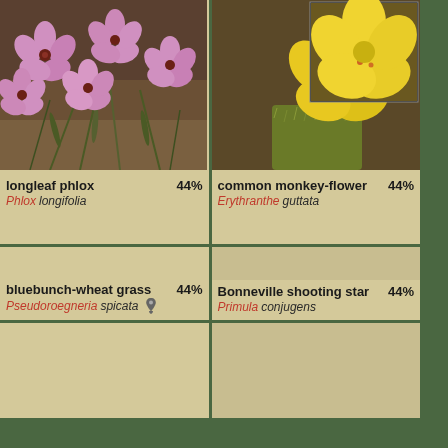[Figure (photo): Pink phlox flowers (longleaf phlox) with narrow green leaves on brown background]
longleaf phlox 44%
Phlox longifolia
[Figure (photo): Yellow monkey flowers (common monkey-flower) with inset close-up showing spotted petals, Erythranthe guttata]
common monkey-flower 44%
Erythranthe guttata
[Figure (photo): Empty/blank placeholder for bluebunch-wheat grass]
bluebunch-wheat grass 44%
Pseudoroegneria spicata (location icon)
[Figure (photo): Empty/blank placeholder for Bonneville shooting star]
Bonneville shooting star 44%
Primula conjugens
[Figure (photo): Partial empty placeholder - bottom row left]
[Figure (photo): Partial empty placeholder - bottom row right]